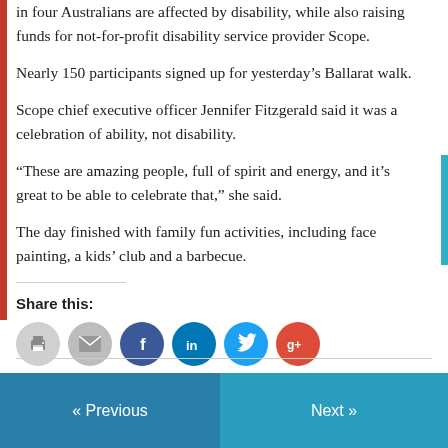in four Australians are affected by disability, while also raising funds for not-for-profit disability service provider Scope.
Nearly 150 participants signed up for yesterday's Ballarat walk.
Scope chief executive officer Jennifer Fitzgerald said it was a celebration of ability, not disability.
“These are amazing people, full of spirit and energy, and it’s great to be able to celebrate that,” she said.
The day finished with family fun activities, including face painting, a kids’ club and a barbecue.
Share this:
[Figure (infographic): Row of six social sharing icon circles: print (grey), email (grey), Facebook (dark blue), LinkedIn (blue), Twitter (light blue), Google+ (red-orange)]
September 15, 2013
« Previous
Next »